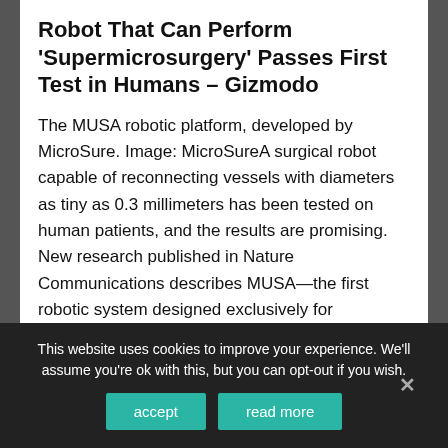Robot That Can Perform 'Supermicrosurgery' Passes First Test in Humans – Gizmodo
The MUSA robotic platform, developed by MicroSure. Image: MicroSureA surgical robot capable of reconnecting vessels with diameters as tiny as 0.3 millimeters has been tested on human patients, and the results are promising. New research published in Nature Communications describes MUSA—the first robotic system designed exclusively for performing reconstructive supermicrosurgery. Using the system, surgeons were able to reconnect vessels with diameters between 0.3 and 0.8 … [Read More...]
This website uses cookies to improve your experience. We'll assume you're ok with this, but you can opt-out if you wish.